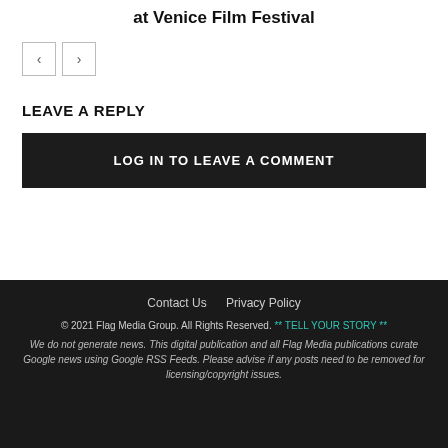at Venice Film Festival
< >
LEAVE A REPLY
LOG IN TO LEAVE A COMMENT
Contact Us   Privacy Policy
© 2021 Flag Media Group. All Rights Reserved. ** TELL YOUR STORY **
We do not generate news. This digital publication and all Flag Media publications curate Google news using Google RSS Feeds.
Please advise if any posts need to be removed for licensing/copyright issues.